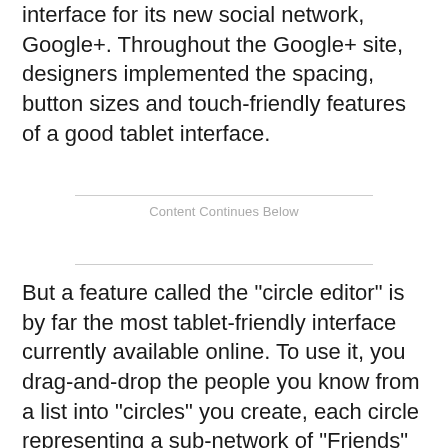interface for its new social network, Google+. Throughout the Google+ site, designers implemented the spacing, button sizes and touch-friendly features of a good tablet interface.
Content Continues Below
But a feature called the "circle editor" is by far the most tablet-friendly interface currently available online. To use it, you drag-and-drop the people you know from a list into "circles" you create, each circle representing a sub-network of "Friends" or "Family" or "People Who